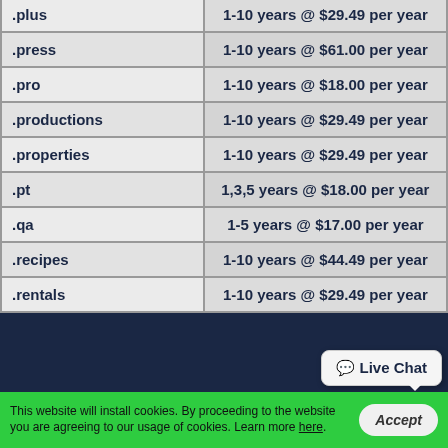| Domain | Registration Period & Price |
| --- | --- |
| .plus | 1-10 years @ $29.49 per year |
| .press | 1-10 years @ $61.00 per year |
| .pro | 1-10 years @ $18.00 per year |
| .productions | 1-10 years @ $29.49 per year |
| .properties | 1-10 years @ $29.49 per year |
| .pt | 1,3,5 years @ $18.00 per year |
| .qa | 1-5 years @ $17.00 per year |
| .recipes | 1-10 years @ $44.49 per year |
| .rentals | 1-10 years @ $29.49 per year |
This website will install cookies. By proceeding to the website you are agreeing to our usage of cookies. Learn more here.